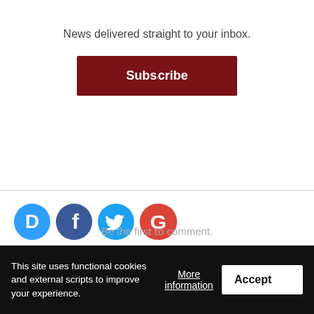×
News delivered straight to your inbox.
Subscribe
[Figure (illustration): Four circular social media login icons: Disqus (blue D), Facebook (dark blue f), Twitter (light blue bird), Google (red G)]
OR SIGN UP WITH DISQUS ?
Name
Be the first to comment.
This site uses functional cookies and external scripts to improve your experience.
More information
Accept